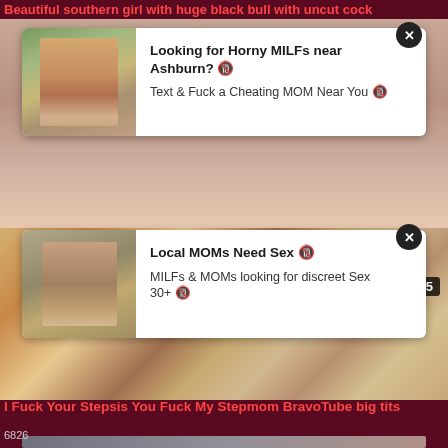Beautiful southern girl with huge black bull with uncut cock
[Figure (screenshot): Adult video website screenshot with ad overlays showing promotional content]
Looking for Horny MILFs near Ashburn? 🔞
Text & Fuck a Cheating MOM Near You 🔞
Local MOMs Need Sex 🔞
MILFs & MOMs looking for discreet Sex 30+ 🔞
28:35
I Fuck Your Stepsis You Fuck My Stepmom BravoTube big tits
6826